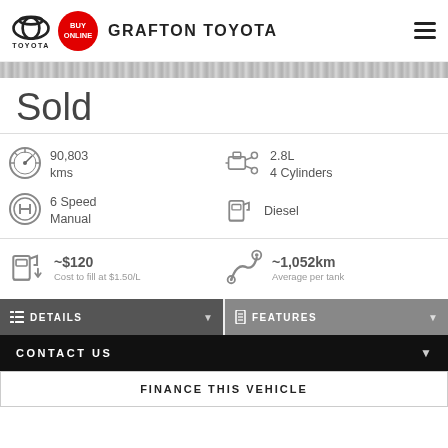GRAFTON TOYOTA
Sold
90,803 kms
2.8L 4 Cylinders
6 Speed Manual
Diesel
~$120 Cost to fill at $1.50/L
~1,052km Average per tank
DETAILS
FEATURES
CONTACT US
FINANCE THIS VEHICLE